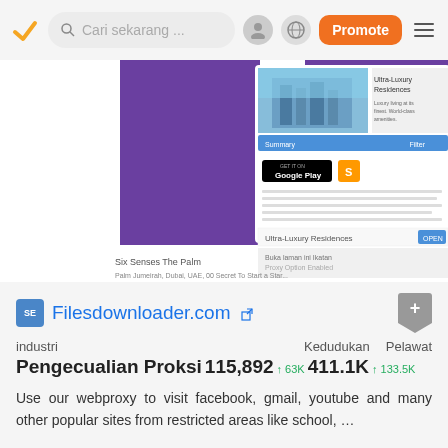Cari sekarang ...
[Figure (screenshot): Screenshot of a website showing Ultra-Luxury Residences with purple background panels and a Google Play download button]
SE Filesdownloader.com
industri   Kedudukan   Pelawat
Pengecualian Proksi 115,892 ↑ 63K 411.1K ↑ 133.5K
Use our webproxy to visit facebook, gmail, youtube and many other popular sites from restricted areas like school, …